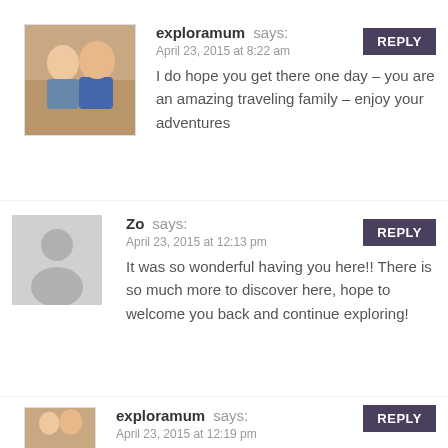exploramum says:
April 23, 2015 at 8:22 am
I do hope you get there one day – you are an amazing traveling family – enjoy your adventures
Zo says:
April 23, 2015 at 12:13 pm
It was so wonderful having you here!! There is so much more to discover here, hope to welcome you back and continue exploring!
exploramum says:
April 23, 2015 at 12:19 pm